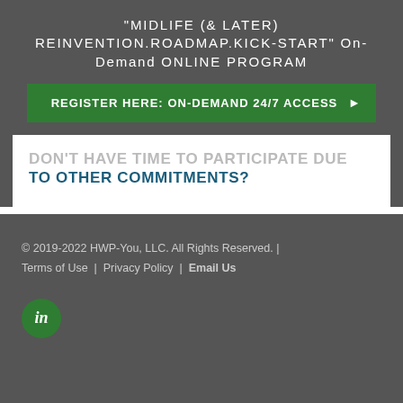"MIDLIFE (& LATER) REINVENTION.ROADMAP.KICK-START" On-Demand ONLINE PROGRAM
REGISTER HERE: ON-DEMAND 24/7 ACCESS
DON'T HAVE TIME TO PARTICIPATE DUE TO OTHER COMMITMENTS?
© 2019-2022 HWP-You, LLC. All Rights Reserved. | Terms of Use | Privacy Policy | Email Us